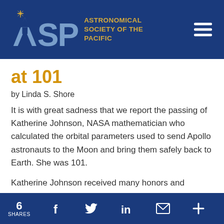ASP — Astronomical Society of the Pacific
at 101
by Linda S. Shore
It is with great sadness that we report the passing of Katherine Johnson, NASA mathematician who calculated the orbital parameters used to send Apollo astronauts to the Moon and bring them safely back to Earth. She was 101.
Katherine Johnson received many honors and
6 SHARES